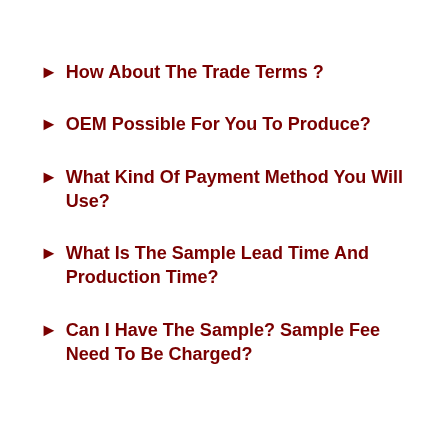How About The Trade Terms ?
OEM Possible For You To Produce?
What Kind Of Payment Method You Will Use?
What Is The Sample Lead Time And Production Time?
Can I Have The Sample? Sample Fee Need To Be Charged?